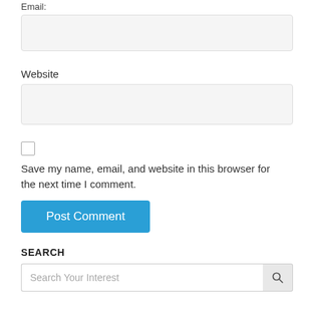Email:
Website
Save my name, email, and website in this browser for the next time I comment.
Post Comment
SEARCH
Search Your Interest